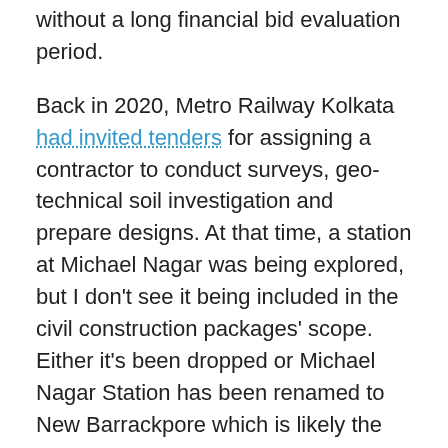without a long financial bid evaluation period.
Back in 2020, Metro Railway Kolkata had invited tenders for assigning a contractor to conduct surveys, geo-technical soil investigation and prepare designs. At that time, a station at Michael Nagar was being explored, but I don't see it being included in the civil construction packages' scope. Either it's been dropped or Michael Nagar Station has been renamed to New Barrackpore which is likely the case looking at the short tunnel lengths.
For more updates, check out the Kolkata section or my Home Page! Sign up for free instant email notifications on new posts over here. Like this post? See how you can get early-access to updates and support the site over here.
– TMRG